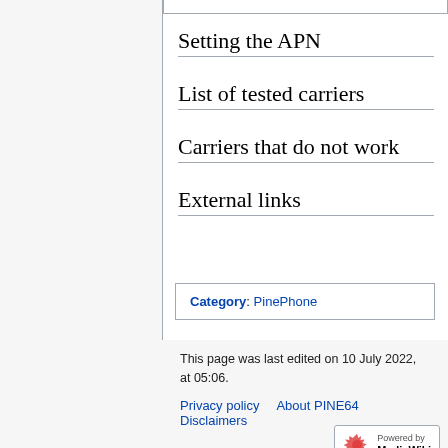Setting the APN
List of tested carriers
Carriers that do not work
External links
Category:  PinePhone
This page was last edited on 10 July 2022, at 05:06.
Privacy policy   About PINE64   Disclaimers
Desktop